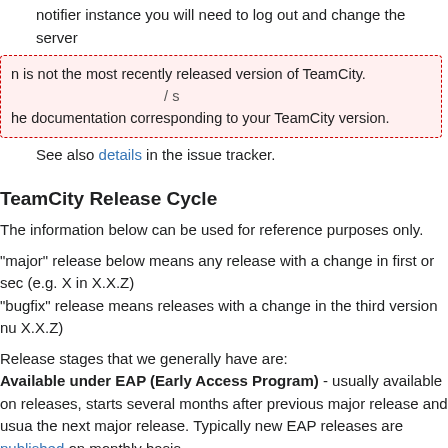the server is connect using the POOT TCP option. Otherwise, notifier instance you will need to log out and change the server
n is not the most recently released version of TeamCity. /s
he documentation corresponding to your TeamCity version.
See also details in the issue tracker.
TeamCity Release Cycle
The information below can be used for reference purposes only.
"major" release below means any release with a change in first or sec (e.g. X in X.X.Z)
"bugfix" release means releases with a change in the third version nu X.X.Z)
Release stages that we generally have are:
Available under EAP (Early Access Program) - usually available on releases, starts several months after previous major release and usua the next major release. Typically new EAP releases are published on monthly basis.
General Availability - as a rule, there is a major release each 8 mont multiple bugfix releases following the major release. Bugfix releases a